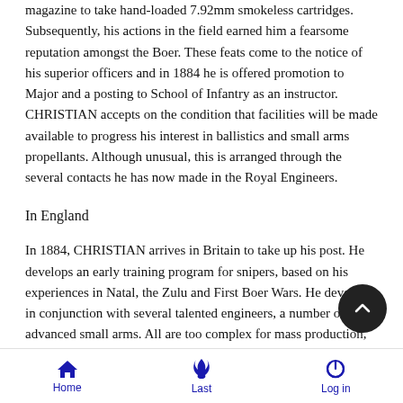magazine to take hand-loaded 7.92mm smokeless cartridges. Subsequently, his actions in the field earned him a fearsome reputation amongst the Boer. These feats come to the notice of his superior officers and in 1884 he is offered promotion to Major and a posting to School of Infantry as an instructor. CHRISTIAN accepts on the condition that facilities will be made available to progress his interest in ballistics and small arms propellants. Although unusual, this is arranged through the several contacts he has now made in the Royal Engineers.
In England
In 1884, CHRISTIAN arrives in Britain to take up his post. He develops an early training program for snipers, based on his experiences in Natal, the Zulu and First Boer Wars. He develops, in conjunction with several talented engineers, a number of advanced small arms. All are too complex for mass production, but their accuracy and rate of fire are unequalled. He perfects a
Home  Last  Log in